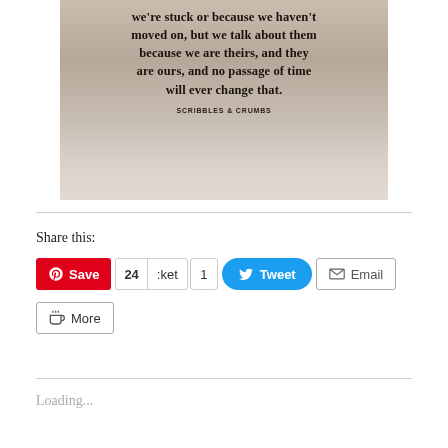[Figure (photo): Inspirational quote image on aged paper background. Text reads: 'we're stuck or because we haven't moved on, but we talk about them because we are theirs, and they are ours, and no passage of time will ever change that.' Attribution: SCRIBBLES & CRUMBS]
Share this:
Save  24  :ket  1  Tweet  Email
More
Loading...